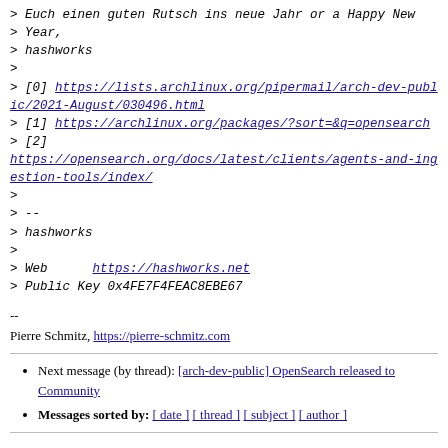> Euch einen guten Rutsch ins neue Jahr or a Happy New Year,
> hashworks
>
> [0] https://lists.archlinux.org/pipermail/arch-dev-public/2021-August/030496.html
> [1] https://archlinux.org/packages/?sort=&q=opensearch
> [2]
> https://opensearch.org/docs/latest/clients/agents-and-ingestion-tools/index/
>
> --
> hashworks
>
> Web      https://hashworks.net
> Public Key 0x4FE7F4FEAC8EBE67
--
Pierre Schmitz, https://pierre-schmitz.com
Next message (by thread): [arch-dev-public] OpenSearch released to Community
Messages sorted by: [ date ] [ thread ] [ subject ] [ author ]